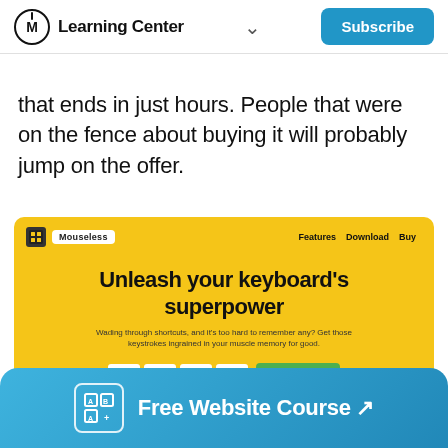Learning Center  ∨  Subscribe
that ends in just hours. People that were on the fence about buying it will probably jump on the offer.
[Figure (screenshot): Screenshot of Mouseless website with yellow background. Shows navigation with logo and links (Features, Download, Buy). Main headline reads 'Unleash your keyboard's superpower'. Subtext: 'Wading through shortcuts, and it's too hard to remember any? Get those keystrokes ingrained in your muscle memory for good.' Countdown timer showing 00 Days, 09 Hrs, 35 Min, 44 Secs. Buy button: 'Buy for $20 $35'. Below: '35% off today · 30-Day Money Back Guarantee']
Free Website Course ↗